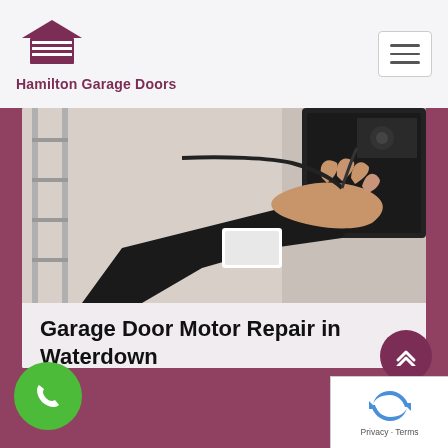[Figure (logo): Hamilton Garage Doors logo — house/garage icon in mauve/pink above the company name]
Hamilton Garage Doors
[Figure (photo): Close-up photo of a person's hands working on a garage door motor/opener mechanism with wiring]
Garage Door Motor Repair in Waterdown
When it comes to garage door motor repair, Garage Doors Waterdown can help you with what you need. Explore a wide variety of Garage Door Motors and Electrical Parts repair and maintenance services.
Read More